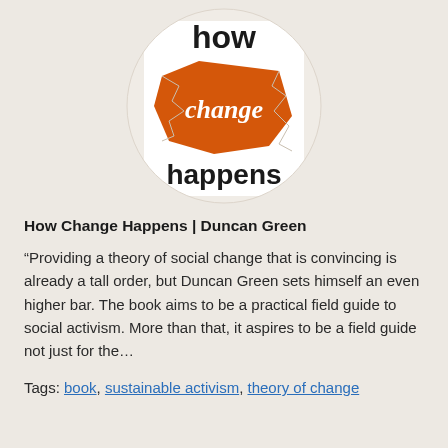[Figure (illustration): Book cover for 'How Change Happens' by Duncan Green — circular crop showing the book cover with the text 'how change happens' and an orange torn-paper graphic element in the center.]
How Change Happens | Duncan Green
“Providing a theory of social change that is convincing is already a tall order, but Duncan Green sets himself an even higher bar. The book aims to be a practical field guide to social activism. More than that, it aspires to be a field guide not just for the…
Tags: book, sustainable activism, theory of change